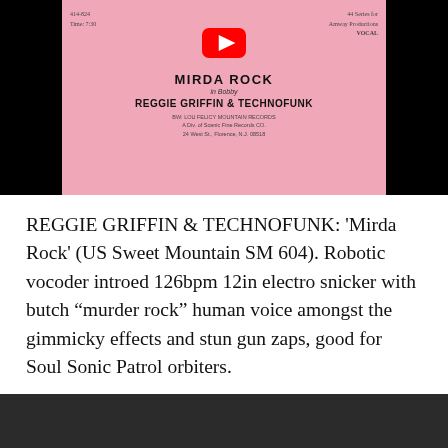[Figure (photo): Pink vinyl record label showing 'MIRDA ROCK' by 'REGGIE GRIFFIN & TECHNOFUNK' on Sweet Mountain label, with a YouTube play button overlay, on a black background.]
REGGIE GRIFFIN & TECHNOFUNK: ‘Mirda Rock’ (US Sweet Mountain SM 604). Robotic vocoder introed 126bpm 12in electro snicker with butch “murder rock” human voice amongst the gimmicky effects and stun gun zaps, good for Soul Sonic Patrol orbiters.
[Figure (screenshot): YouTube video unavailable error screen on dark background. Shows a circle with exclamation mark icon and text: 'Video unavailable. This video is no longer available because the YouTube account associated with this video has']